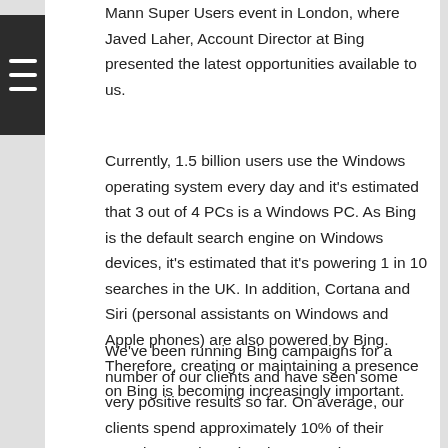Mann Super Users event in London, where Javed Laher, Account Director at Bing presented the latest opportunities available to us.
Currently, 1.5 billion users use the Windows operating system every day and it's estimated that 3 out of 4 PCs is a Windows PC. As Bing is the default search engine on Windows devices, it's estimated that it's powering 1 in 10 searches in the UK. In addition, Cortana and Siri (personal assistants on Windows and Apple phones) are also powered by Bing. Therefore, creating or maintaining a presence on Bing is becoming increasingly important.
We've been running Bing campaigns for a number of our clients and have seen some very positive results so far. On average, our clients spend approximately 10% of their Google spend on Bing, however, the return on investment is much higher than that. In some cases, we have seen an ROI of over £50.00 for some of our clients and there is still room for expansion and improvements.